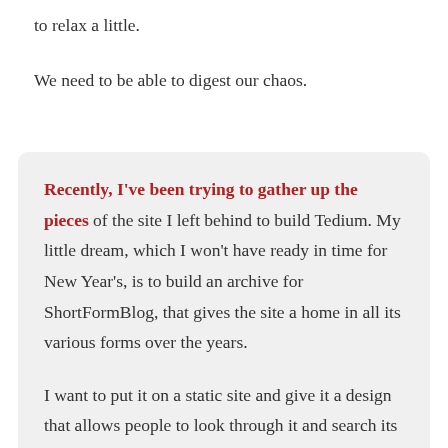to relax a little.
We need to be able to digest our chaos.
Recently, I've been trying to gather up the pieces of the site I left behind to build Tedium. My little dream, which I won't have ready in time for New Year's, is to build an archive for ShortFormBlog, that gives the site a home in all its various forms over the years.

I want to put it on a static site and give it a design that allows people to look through it and search its archives, but allows the past to be the past. (This is